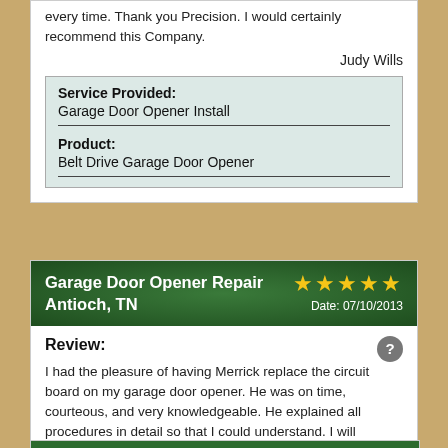every time. Thank you Precision. I would certainly recommend this Company.
Judy Wills
| Service Provided: | Garage Door Opener Install |
| Product: | Belt Drive Garage Door Opener |
Garage Door Opener Repair Antioch, TN
Date: 07/10/2013
Review:
I had the pleasure of having Merrick replace the circuit board on my garage door opener. He was on time, courteous, and very knowledgeable. He explained all procedures in detail so that I could understand. I will recommend this company and the technician to my friends and family. Thank you--D. White
Donna White